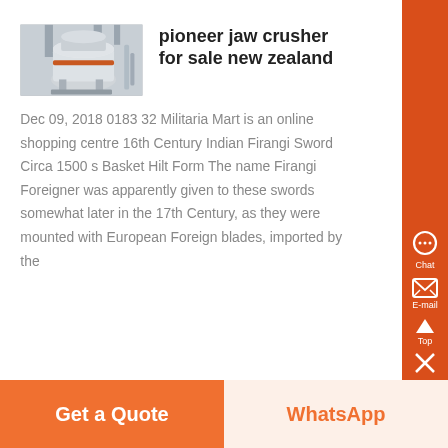[Figure (photo): Industrial jaw crusher / grinding mill machine, grey/white colored, in a facility setting]
pioneer jaw crusher for sale new zealand
Dec 09, 2018 0183 32 Militaria Mart is an online shopping centre 16th Century Indian Firangi Sword Circa 1500 s Basket Hilt Form The name Firangi Foreigner was apparently given to these swords somewhat later in the 17th Century, as they were mounted with European Foreign blades, imported by the